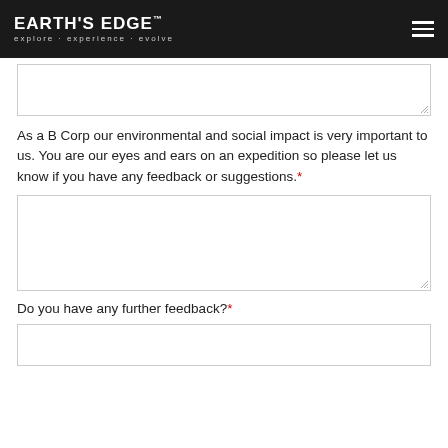EARTH'S EDGE™ explore · experience · evolve
[text area - empty]
As a B Corp our environmental and social impact is very important to us. You are our eyes and ears on an expedition so please let us know if you have any feedback or suggestions.*
[text area - empty]
Do you have any further feedback?*
[text area - empty, partial]